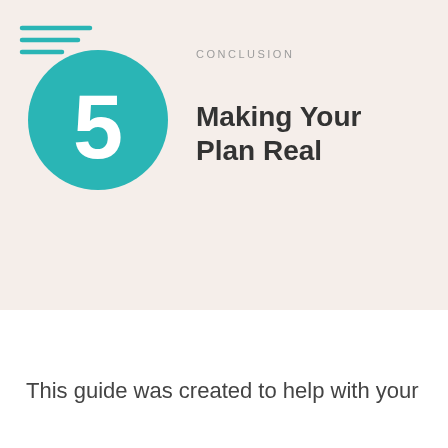[Figure (illustration): Teal circle with a large white number 5 and three horizontal lines decoration in the top-left corner above the circle.]
CONCLUSION
Making Your Plan Real
This guide was created to help with your